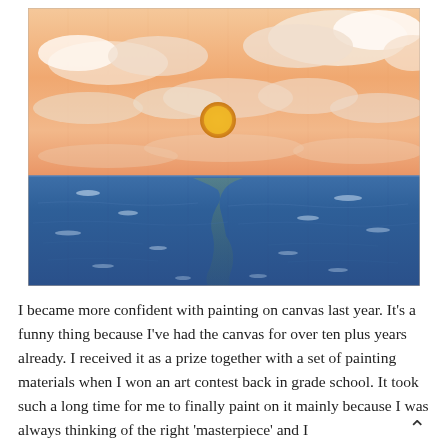[Figure (illustration): A painting of a sunset or sunrise over the ocean. The sky features warm peach and orange tones with fluffy white clouds. A golden-orange sun or moon orb floats in the center of the sky. The ocean below is rendered in deep blue tones with lighter reflections of light on the water's surface.]
I became more confident with painting on canvas last year. It's a funny thing because I've had the canvas for over ten plus years already. I received it as a prize together with a set of painting materials when I won an art contest back in grade school. It took such a long time for me to finally paint on it mainly because I was always thinking of the right 'masterpiece' and I